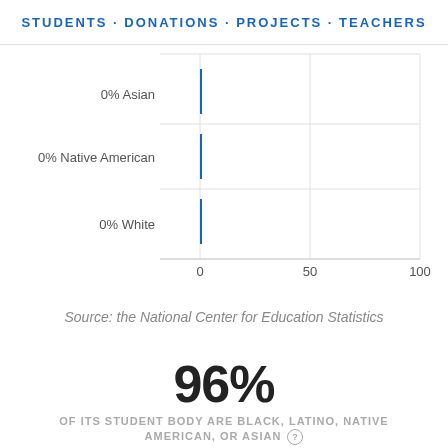STUDENTS · DONATIONS · PROJECTS · TEACHERS
[Figure (bar-chart): Student demographics (partial view)]
Source: the National Center for Education Statistics
96%
OF ITS STUDENT BODY ARE BLACK, LATINO, NATIVE AMERICAN, OR ASIAN